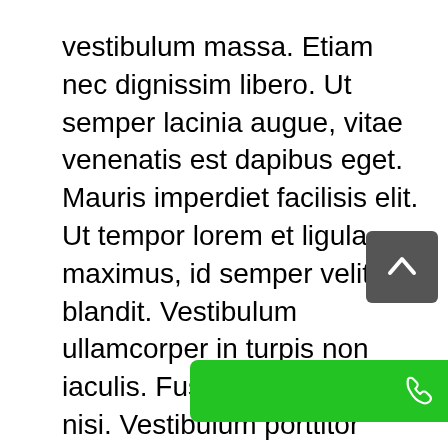vestibulum massa. Etiam nec dignissim libero. Ut semper lacinia augue, vitae venenatis est dapibus eget. Mauris imperdiet facilisis elit. Ut tempor lorem et ligula maximus, id semper velit blandit. Vestibulum ullamcorper in turpis non iaculis. Fusce vitae mattis nisi. Vestibulum porttitor feugiat arcu et fermentum.

In vulputate imperdiet dolor eget accumsan. Maecenas id laoreet nibh. Nunc consectetur consectetur velit sed facilisis. Donec gravida vulputate ipsum, a pellentesque lectus posuere vitae. Nulla vitae auctor nisi. Maecenas a magna at nisi ultricies consectetur. Maecenas porta dui eu viverra euismo... et ultricies. Cras sodales turpis eu ligula lobortis